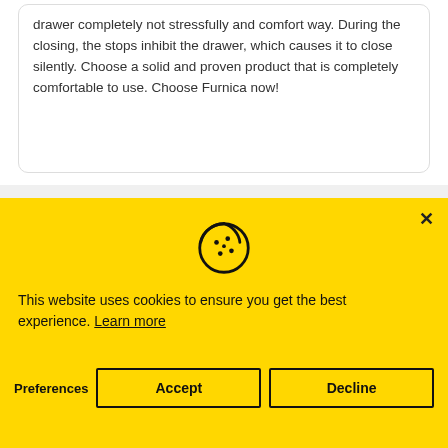drawer completely not stressfully and comfort way. During the closing, the stops inhibit the drawer, which causes it to close silently. Choose a solid and proven product that is completely comfortable to use. Choose Furnica now!
[Figure (screenshot): Cookie consent banner with yellow background, cookie icon, message about cookies, and three buttons: Preferences, Accept, Decline]